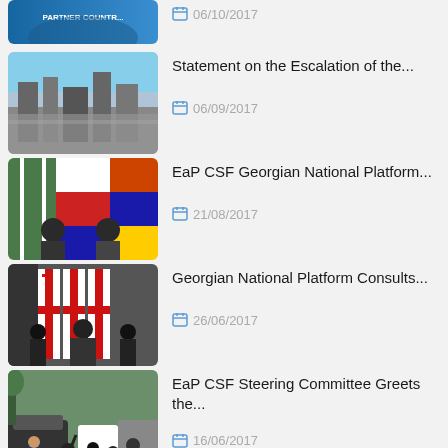06/10/2017 (partial, top item cut off)
Statement on the Escalation of the... | 06/09/2017
EaP CSF Georgian National Platform... | 21/08/2017
Georgian National Platform Consults... | 26/06/2017
EaP CSF Steering Committee Greets the... | 16/06/2017